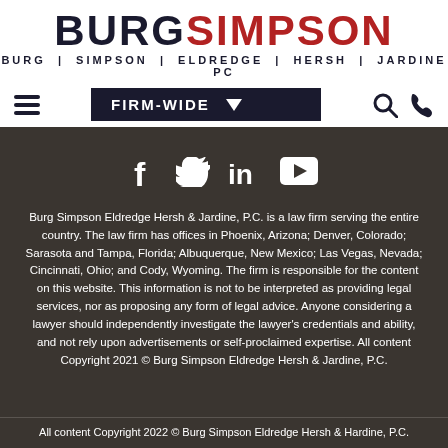BURG SIMPSON — BURG | SIMPSON | ELDREDGE | HERSH | JARDINE PC
[Figure (screenshot): Navigation bar with hamburger menu, FIRM-WIDE dropdown, search and phone icons]
[Figure (infographic): Social media icons: Facebook, Twitter, LinkedIn, YouTube on dark background]
Burg Simpson Eldredge Hersh & Jardine, P.C. is a law firm serving the entire country. The law firm has offices in Phoenix, Arizona; Denver, Colorado; Sarasota and Tampa, Florida; Albuquerque, New Mexico; Las Vegas, Nevada; Cincinnati, Ohio; and Cody, Wyoming. The firm is responsible for the content on this website. This information is not to be interpreted as providing legal services, nor as proposing any form of legal advice. Anyone considering a lawyer should independently investigate the lawyer's credentials and ability, and not rely upon advertisements or self-proclaimed expertise. All content Copyright 2021 © Burg Simpson Eldredge Hersh & Jardine, P.C.
All content Copyright 2022 © Burg Simpson Eldredge Hersh & Hardine, P.C.